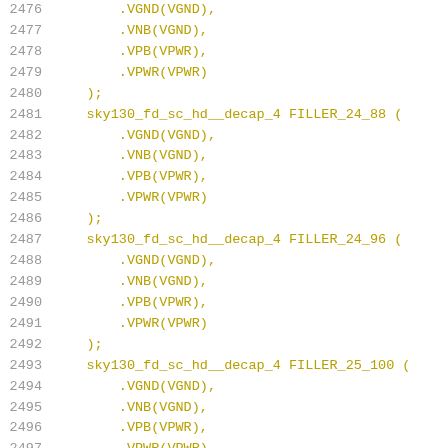Code listing lines 2476-2497, Verilog/netlist HDL code showing sky130 filler cell instantiations with port connections VGND, VNB, VPB, VPWR